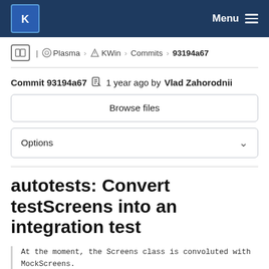KDE | Menu
Plasma › KWin › Commits › 93194a67
Commit 93194a67  1 year ago by Vlad Zahorodnii
Browse files
Options
autotests: Convert testScreens into an integration test
At the moment, the Screens class is convoluted with MockScreens.

The goal of this change is to reduce the number of u MockScreens class so it is possible to get rid of th